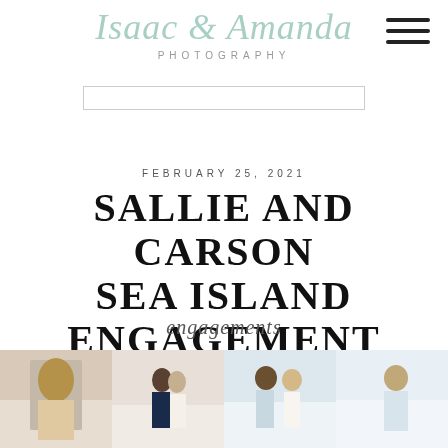[Figure (logo): Isaac & Amanda Photography logo in mint/teal script with 'PHOTOGRAPHY' in small caps below]
FEBRUARY 25, 2021
SALLIE AND CARSON SEA ISLAND ENGAGEMENT
engagements
[Figure (photo): Strip of four engagement photos of a couple at a beach/sea island location at sunset]